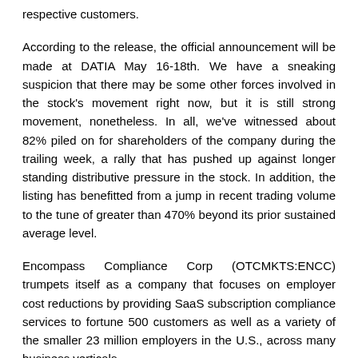respective customers.
According to the release, the official announcement will be made at DATIA May 16-18th. We have a sneaking suspicion that there may be some other forces involved in the stock's movement right now, but it is still strong movement, nonetheless. In all, we've witnessed about 82% piled on for shareholders of the company during the trailing week, a rally that has pushed up against longer standing distributive pressure in the stock. In addition, the listing has benefitted from a jump in recent trading volume to the tune of greater than 470% beyond its prior sustained average level.
Encompass Compliance Corp (OTCMKTS:ENCC) trumpets itself as a company that focuses on employer cost reductions by providing SaaS subscription compliance services to fortune 500 customers as well as a variety of the smaller 23 million employers in the U.S., across many business verticals.